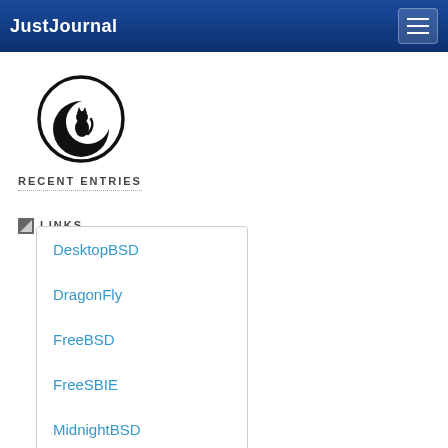JustJournal
[Figure (logo): Black circular logo with a cat silhouette sitting on a crescent moon]
RECENT ENTRIES
LINKS
DesktopBSD
DragonFly
FreeBSD
FreeSBIE
MidnightBSD
MidnightBSD Ports Browser